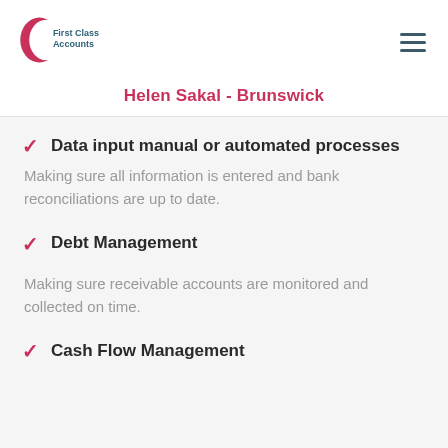[Figure (logo): First Class Accounts logo with red crescent and teal text]
Helen Sakal - Brunswick
Data input manual or automated processes
Making sure all information is entered and bank reconciliations are up to date.
Debt Management
Making sure receivable accounts are monitored and collected on time.
Cash Flow Management